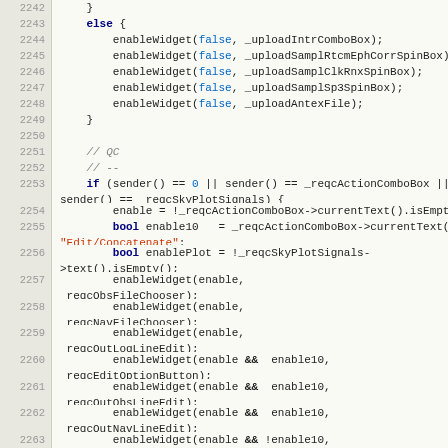[Figure (screenshot): Source code listing showing C++ code lines 2242-2263 with line numbers, featuring enableWidget calls, if/else blocks, boolean variables, and QC section comments]